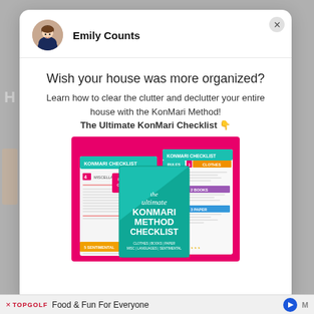[Figure (photo): Emily Counts profile avatar photo, woman with brown hair smiling]
Emily Counts
Wish your house was more organized?
Learn how to clear the clutter and declutter your entire house with the KonMari Method! The Ultimate KonMari Checklist 👇
[Figure (photo): The Ultimate KonMari Method Checklist booklet set displayed on a pink background, showing multiple checklist pages including Rules, Clothes, Books, Paper, Sentimental, and Miscellaneous categories with a teal cover and Free Guide label]
TOPGOLF Food & Fun For Everyone